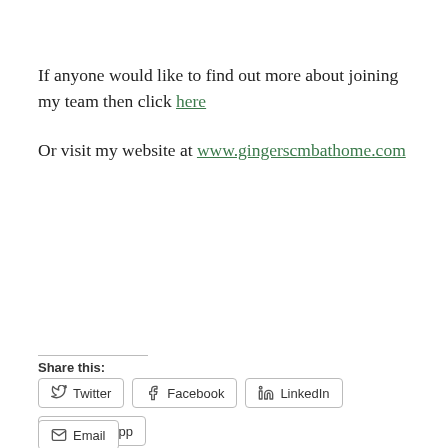If anyone would like to find out more about joining my team then click here

Or visit my website at www.gingerscmbathome.com
Share this:
Twitter  Facebook  LinkedIn  WhatsApp  Email